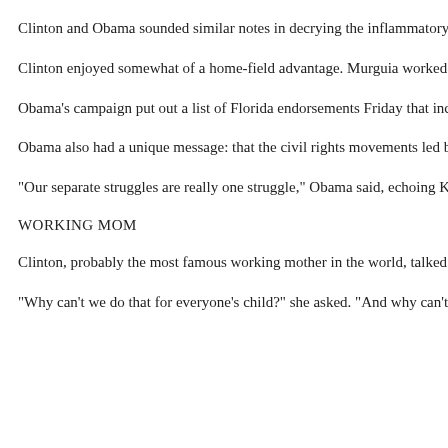Clinton and Obama sounded similar notes in decrying the inflammatory debate seek citizenship. They also echoed each other's calls for universal healthcare an
Clinton enjoyed somewhat of a home-field advantage. Murguia worked in her b could also point to one of her most prominent Hispanic supporters in the audie
Obama's campaign put out a list of Florida endorsements Friday that included f establishment, his campaign tried to make up for in grass-roots activism, dispat
Obama also had a unique message: that the civil rights movements led by an Af linked. Both African-American and Hispanic children suffer disproportionately
"Our separate struggles are really one struggle," Obama said, echoing King. "A
WORKING MOM
Clinton, probably the most famous working mother in the world, talked about h
"Why can't we do that for everyone's child?" she asked. "And why can't we do a